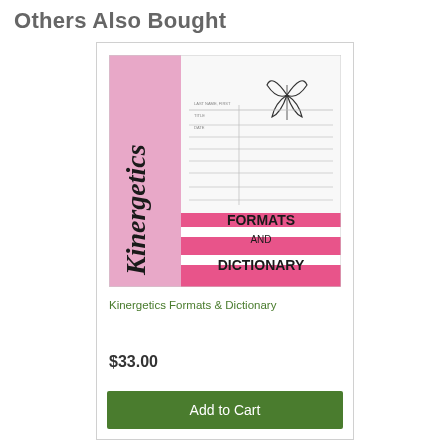Others Also Bought
[Figure (photo): Book cover of 'Kinergetics Formats and Dictionary' with pink and white design, cursive title on the spine, butterfly illustration, and pink banner at bottom reading 'FORMATS AND DICTIONARY']
Kinergetics Formats & Dictionary
$33.00
Add to Cart